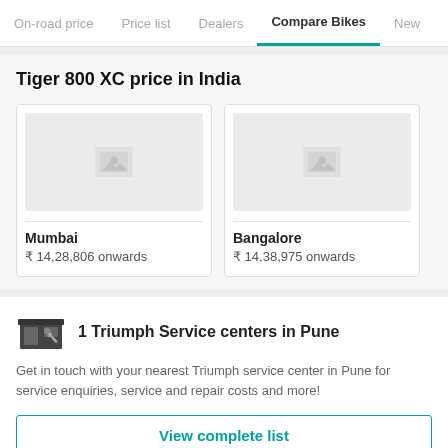On-road price | Price list | Dealers | Compare Bikes | New
Tiger 800 XC price in India
[Figure (other): Price card placeholder image for Mumbai]
Mumbai
₹ 14,28,806 onwards
[Figure (other): Price card placeholder image for Bangalore]
Bangalore
₹ 14,38,975 onwards
1 Triumph Service centers in Pune
Get in touch with your nearest Triumph service center in Pune for service enquiries, service and repair costs and more!
View complete list